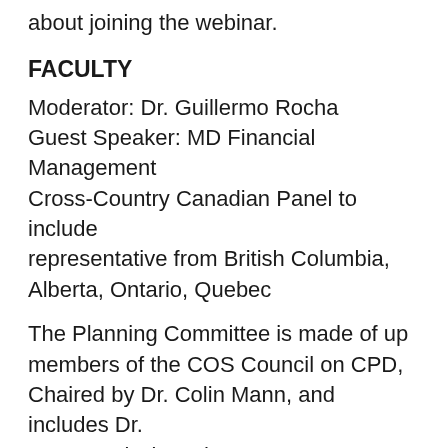about joining the webinar.
FACULTY
Moderator: Dr. Guillermo Rocha
Guest Speaker: MD Financial Management
Cross-Country Canadian Panel to include representative from British Columbia, Alberta, Ontario, Quebec
The Planning Committee is made of up members of the COS Council on CPD, Chaired by Dr. Colin Mann, and includes Dr. Mona Harissi-Dagher, Dr. Varun Chaudhary, and Dr. Hady Saheb.
LEARNING OBJECTIVES